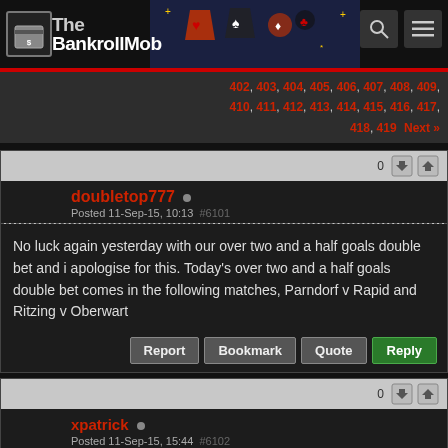The BankrollMob
402, 403, 404, 405, 406, 407, 408, 409, 410, 411, 412, 413, 414, 415, 416, 417, 418, 419 Next »
0
doubletop777 Posted 11-Sep-15, 10:13 #6101
No luck again yesterday with our over two and a half goals double bet and i apologise for this. Today's over two and a half goals double bet comes in the following matches, Parndorf v Rapid and Ritzing v Oberwart
Report  Bookmark  Quote  Reply
0
xpatrick Posted 11-Sep-15, 15:44 #6102
Futebol